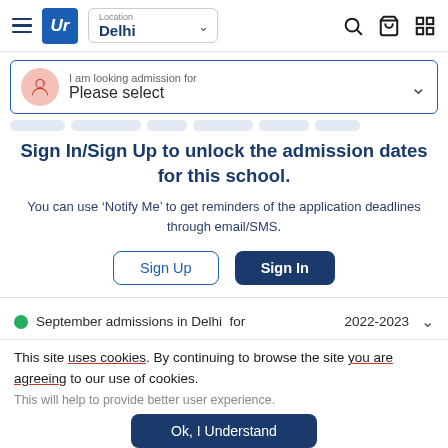[Figure (screenshot): Website navigation bar with hamburger menu, UR logo, Location Delhi dropdown, search icon, cart icon, and grid icon]
[Figure (screenshot): Search bar with student icon and 'I am looking admission for / Please select' dropdown]
Sign In/Sign Up to unlock the admission dates for this school.
You can use 'Notify Me' to get reminders of the application deadlines through email/SMS.
Sign Up  Sign In
September admissions in Delhi  for   2022-2023
This site uses cookies. By continuing to browse the site you are agreeing to our use of cookies.
This will help to provide better user experience.
Ok, I Understand